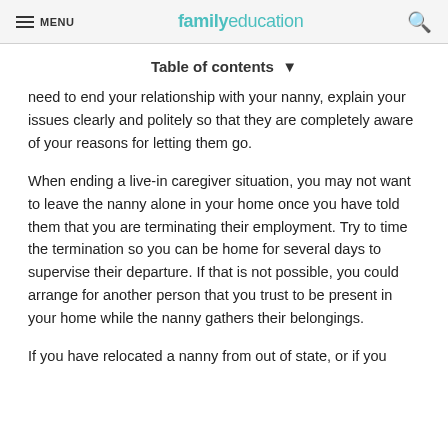MENU | familyeducation
Table of contents ▼
need to end your relationship with your nanny, explain your issues clearly and politely so that they are completely aware of your reasons for letting them go.
When ending a live-in caregiver situation, you may not want to leave the nanny alone in your home once you have told them that you are terminating their employment. Try to time the termination so you can be home for several days to supervise their departure. If that is not possible, you could arrange for another person that you trust to be present in your home while the nanny gathers their belongings.
If you have relocated a nanny from out of state, or if you